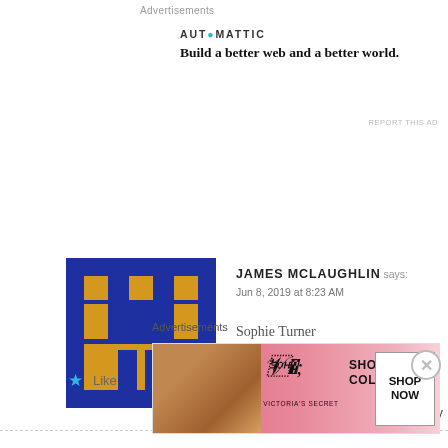Advertisements
[Figure (logo): Automattic logo with tagline: Build a better web and a better world.]
REPORT THIS AD
[Figure (photo): Pixel art avatar for James McLaughlin - blue and gold castle/character design]
JAMES MCLAUGHLIN says: Jun 8, 2019 at 8:23 AM
Sophie Turner
★ Like
Reply
[Figure (photo): Pixel art avatar for Pamela Hutchinson - green and gray robot/character design]
PAMELA HUTCHINSON says: Jun 8, 2019 at 8:27 AM
Sophie Turner
Advertisements
[Figure (photo): Victoria's Secret advertisement banner - Shop the Collection - Shop Now button]